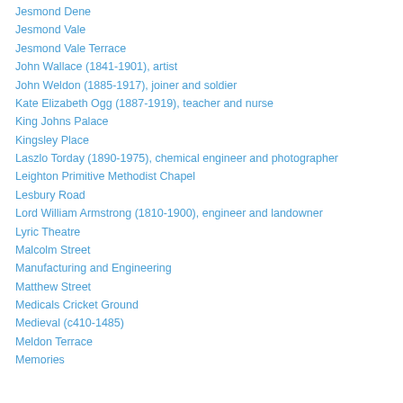Jesmond Dene
Jesmond Vale
Jesmond Vale Terrace
John Wallace (1841-1901), artist
John Weldon (1885-1917), joiner and soldier
Kate Elizabeth Ogg (1887-1919), teacher and nurse
King Johns Palace
Kingsley Place
Laszlo Torday (1890-1975), chemical engineer and photographer
Leighton Primitive Methodist Chapel
Lesbury Road
Lord William Armstrong (1810-1900), engineer and landowner
Lyric Theatre
Malcolm Street
Manufacturing and Engineering
Matthew Street
Medicals Cricket Ground
Medieval (c410-1485)
Meldon Terrace
Memories